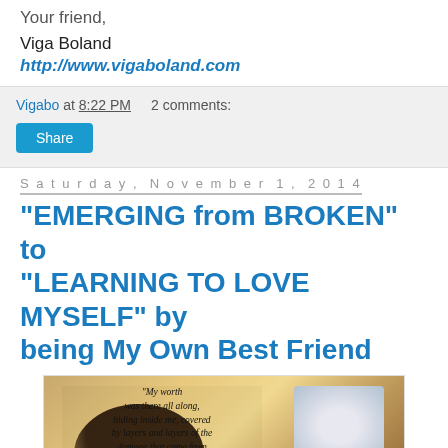Your friend,
Viga Boland
http://www.vigaboland.com
Vigabo at 8:22 PM   2 comments:
Share
Saturday, November 1, 2014
"EMERGING from BROKEN" to "LEARNING TO LOVE MYSELF" by being My Own Best Friend
[Figure (photo): Inspirational image with silhouette of a woman and a child photo. Quote text reads: 'My worth was there all along, hiding inside me, covered by layers and layers of the damage that came from mistreatment, lies, abuse and emotional neglect. As I pulled those layers off, dispelling the lies and' with watermark (www.emergingfrombroken.com)]